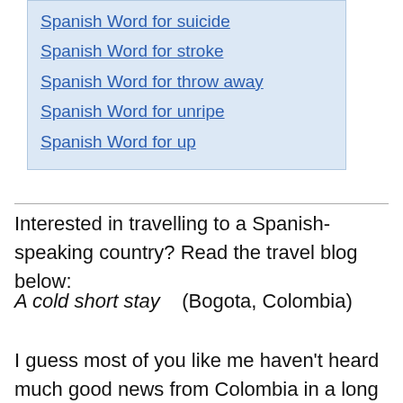Spanish Word for suicide
Spanish Word for stroke
Spanish Word for throw away
Spanish Word for unripe
Spanish Word for up
Interested in travelling to a Spanish-speaking country? Read the travel blog below:
A cold short stay   (Bogota, Colombia)
I guess most of you like me haven't heard much good news from Colombia in a long time. If you